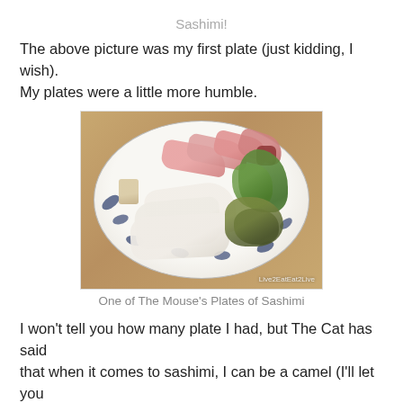Sashimi!
The above picture was my first plate (just kidding, I wish). My plates were a little more humble.
[Figure (photo): A plate of sashimi (raw fish slices) on a blue-and-white decorative plate, with green garnish (lettuce and seaweed), served on a wooden table. Watermark: Live2EatEat2Live]
One of The Mouse's Plates of Sashimi
I won't tell you how many plate I had, but The Cat has said that when it comes to sashimi, I can be a camel (I'll let you